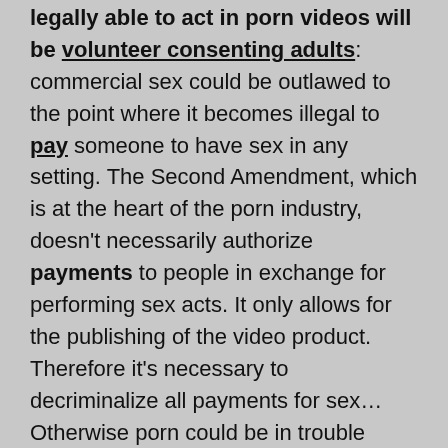legally able to act in porn videos will be volunteer consenting adults: commercial sex could be outlawed to the point where it becomes illegal to pay someone to have sex in any setting. The Second Amendment, which is at the heart of the porn industry, doesn't necessarily authorize payments to people in exchange for performing sex acts. It only allows for the publishing of the video product. Therefore it's necessary to decriminalize all payments for sex… Otherwise porn could be in trouble down the road.
💋Thanks to Anonymous Ally in PHL for the mindful and informative comments.